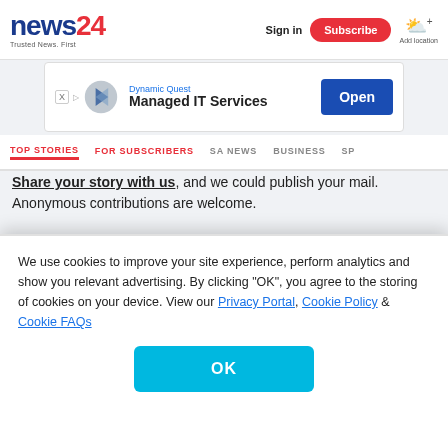news24 - Trusted News. First | Sign in | Subscribe | Add location
[Figure (infographic): Dynamic Quest Managed IT Services advertisement banner with arrow logo and Open button]
TOP STORIES | FOR SUBSCRIBERS | SA NEWS | BUSINESS | SP
Share your story with us, and we could publish your mail. Anonymous contributions are welcome.
SIGN UP FOR OUR
We use cookies to improve your site experience, perform analytics and show you relevant advertising. By clicking "OK", you agree to the storing of cookies on your device. View our Privacy Portal, Cookie Policy & Cookie FAQs
OK